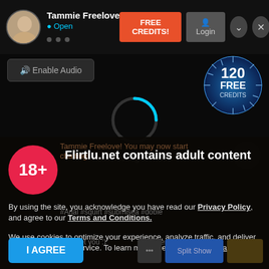[Figure (screenshot): Video chat interface showing Tammie Freelove profile with Open status, FREE CREDITS button, Login button, minimize and close buttons, Enable Audio button, 120 Free Credits badge, loading spinner with Connecting to Video text, and a dark modal overlay]
[Figure (infographic): 18+ adult content warning modal with pink circle, title 'Flirtlu.net contains adult content', privacy policy text, cookie policy text, and I AGREE button]